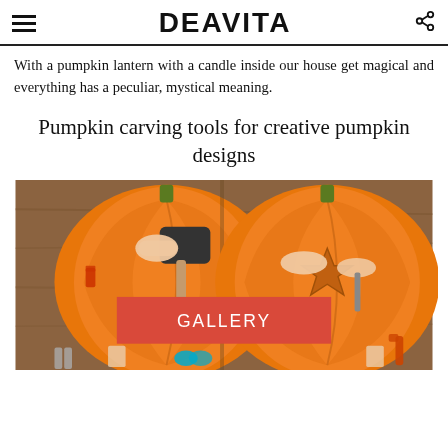DEAVITA
With a pumpkin lantern with a candle inside our house get magical and everything has a peculiar, mystical meaning.
Pumpkin carving tools for creative pumpkin designs
[Figure (photo): Two side-by-side images showing hands carving a pumpkin: left image shows a mallet being used with cookie cutter tools on an orange pumpkin; right image shows hands pressing a star-shaped cutter into the pumpkin surface. Tools including scissors and small cups visible on wooden table. A red GALLERY button overlay in center.]